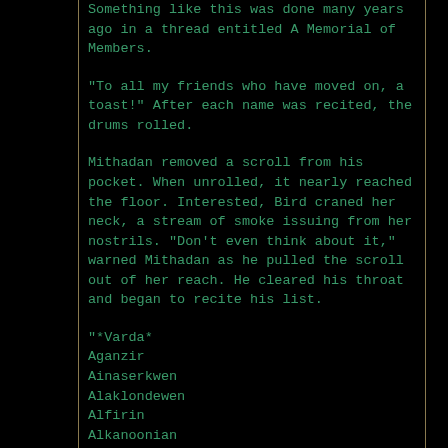Something like this was done many years ago in a thread entitled A Memorial of Members.
"To all my friends who have moved on, a toast!" After each name was recited, the drums rolled.
Mithadan removed a scroll from his pocket. When unrolled, it nearly reached the floor. Interested, Bird craned her neck, a stream of smoke issuing from her nostrils. "Don't even think about it," warned Mithadan as he pulled the scroll out of her reach. He cleared his throat and began to recite his list.
"*Varda*
Aganzir
Ainaserkwen
Alaklondewen
Alfirin
Alkanoonian
Amanaduial the Archer
Aralaithiel